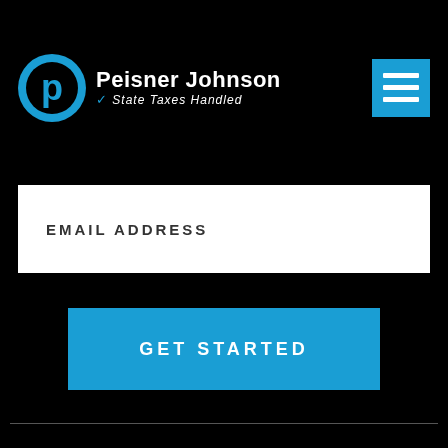[Figure (logo): Peisner Johnson logo with circular P icon and text 'Peisner Johnson / State Taxes Handled' in white and blue on black background, top-left header area]
[Figure (other): Blue hamburger menu icon (three white horizontal lines on blue square background), top-right corner]
EMAIL ADDRESS
[Figure (other): Blue button with white text 'GET STARTED']
[Figure (logo): Peisner Johnson logo larger version with circular P icon in blue and text 'Peisner Johnson / State Taxes Handled' in white and blue, bottom-center area]